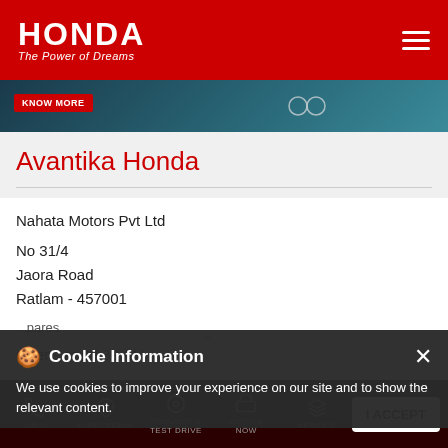[Figure (logo): Honda logo with 'HONDA' text and tagline 'The Power of Dreams' on red background with hamburger menu icon]
[Figure (photo): Dark blue/teal banner image of a car with 'KNOW MORE' button]
Avantika Honda
Nahata Motors Pvt Ltd
No 31/4
Jaora Road
Ratlam - 457001
Near Pehelwan Baba Ki Dargah
Opens at 09:30 AM
Cookie Information
We use cookies to improve your experience on our site and to show the relevant content.
I ACCEPT